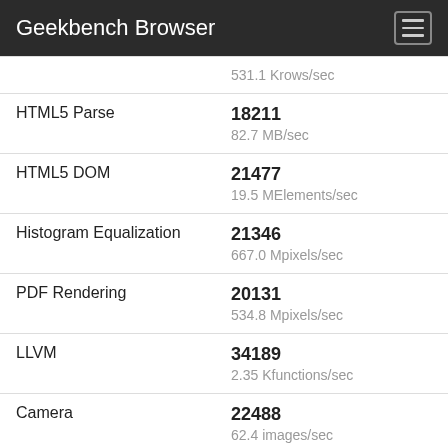Geekbench Browser
| Benchmark | Score / Unit |
| --- | --- |
|  | 531.1 Krows/sec |
| HTML5 Parse | 18211
82.7 MB/sec |
| HTML5 DOM | 21477
19.5 MElements/sec |
| Histogram Equalization | 21346
667.0 Mpixels/sec |
| PDF Rendering | 20131
534.8 Mpixels/sec |
| LLVM | 34189
2.35 Kfunctions/sec |
| Camera | 22488
62.4 images/sec |
| SGEMM | 11798
249.4 Gflops |
| SFFT | 15549 |  |